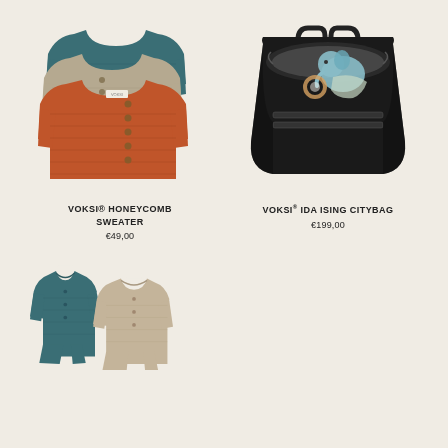[Figure (photo): Stack of three baby/toddler honeycomb knit sweaters in teal, beige and orange colours with button details]
[Figure (photo): Black drawstring city bag open at the top showing a baby toy elephant rattle inside]
VOKSI® HONEYCOMB SWEATER
€49,00
VOKSI® IDA ISING CITYBAG
€199,00
[Figure (photo): Two baby sleepsuits/onesies in teal and beige colours laid flat side by side]